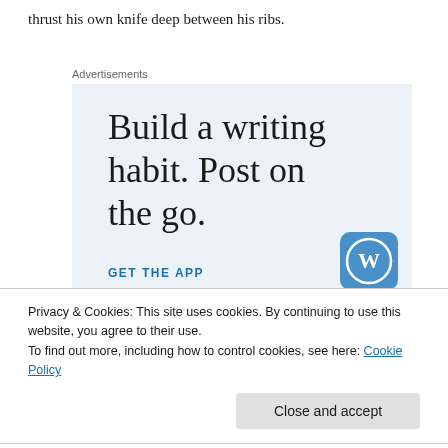thrust his own knife deep between his ribs.
Advertisements
[Figure (infographic): WordPress advertisement: 'Build a writing habit. Post on the go.' with a GET THE APP call to action and WordPress logo.]
Privacy & Cookies: This site uses cookies. By continuing to use this website, you agree to their use.
To find out more, including how to control cookies, see here: Cookie Policy
Close and accept
so hard, from which he had received so little. He was